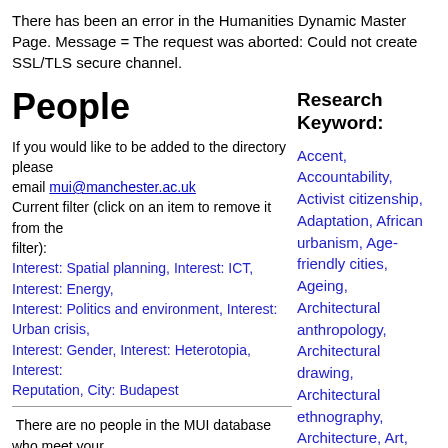There has been an error in the Humanities Dynamic Master Page. Message = The request was aborted: Could not create SSL/TLS secure channel.
People
Research Keyword:
If you would like to be added to the directory please email mui@manchester.ac.uk
Current filter (click on an item to remove it from the filter):
Interest: Spatial planning, Interest: ICT, Interest: Energy, Interest: Politics and environment, Interest: Urban crisis, Interest: Gender, Interest: Heterotopia, Interest: Reputation, City: Budapest
There are no people in the MUI database who meet your search criteria
Accent, Accountability, Activist citizenship, Adaptation, African urbanism, Age-friendly cities, Ageing, Architectural anthropology, Architectural drawing, Architectural ethnography, Architecture, Art, Aspiration, Atmosphere, Austerity,